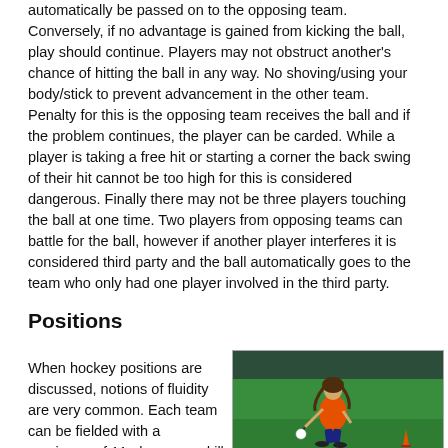automatically be passed on to the opposing team. Conversely, if no advantage is gained from kicking the ball, play should continue. Players may not obstruct another's chance of hitting the ball in any way. No shoving/using your body/stick to prevent advancement in the other team. Penalty for this is the opposing team receives the ball and if the problem continues, the player can be carded. While a player is taking a free hit or starting a corner the back swing of their hit cannot be too high for this is considered dangerous. Finally there may not be three players touching the ball at one time. Two players from opposing teams can battle for the ball, however if another player interferes it is considered third party and the ball automatically goes to the team who only had one player involved in the third party.
Positions
When hockey positions are discussed, notions of fluidity are very common. Each team can be fielded with a maximum of 11 players, and ill typically
[Figure (photo): A field hockey player in an orange jersey and dark shorts, crouching low to hit a white ball on a green turf field, with an orange cone visible in the background.]